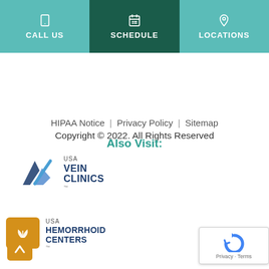CALL US | SCHEDULE | LOCATIONS
HIPAA Notice | Privacy Policy | Sitemap
Copyright © 2022. All Rights Reserved
Also Visit:
[Figure (logo): USA Vein Clinics logo with dark blue checkmark/swoosh icon]
[Figure (logo): USA Hemorrhoid Centers logo with gold square background and leaf icon]
[Figure (other): reCAPTCHA badge with Privacy and Terms links]